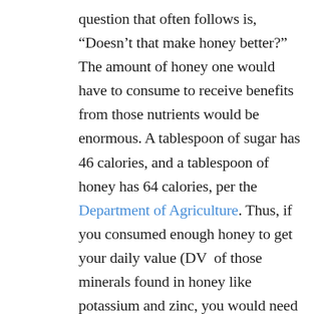question that often follows is, “Doesn’t that make honey better?” The amount of honey one would have to consume to receive benefits from those nutrients would be enormous. A tablespoon of sugar has 46 calories, and a tablespoon of honey has 64 calories, per the Department of Agriculture. Thus, if you consumed enough honey to get your daily value (DV  of those minerals found in honey like potassium and zinc, you would need to eat 20 cups of honey in order to consume the DV of both of those.